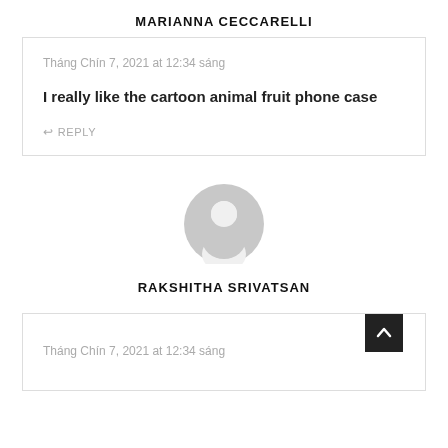MARIANNA CECCARELLI
Tháng Chín 7, 2021 at 12:34 sáng
I really like the cartoon animal fruit phone case
REPLY
[Figure (illustration): Default user avatar — grey circle with a stylized person silhouette inside]
RAKSHITHA SRIVATSAN
Tháng Chín 7, 2021 at 12:34 sáng